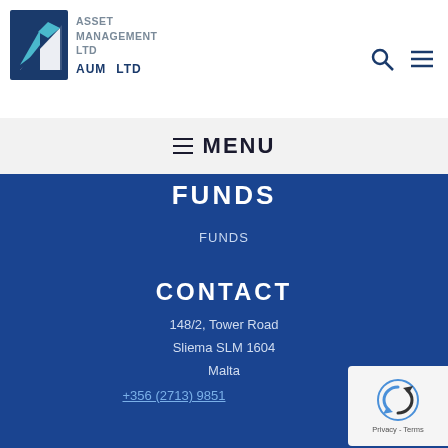[Figure (logo): AUM Asset Management Ltd logo — blue triangle/arrow graphic with text 'ASSET MANAGEMENT LTD' and 'AUM LTD']
≡ MENU
FUNDS
FUNDS
CONTACT
148/2, Tower Road
Sliema SLM 1604
Malta
+356 (2713) 9851